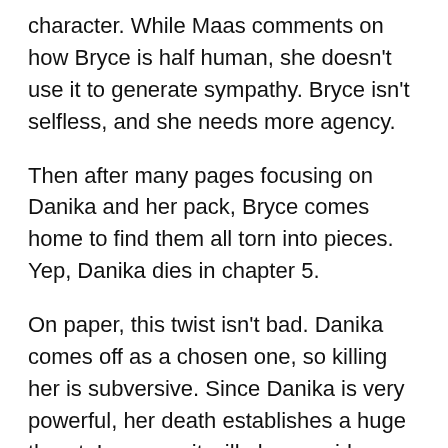character. While Maas comments on how Bryce is half human, she doesn't use it to generate sympathy. Bryce isn't selfless, and she needs more agency.
Then after many pages focusing on Danika and her pack, Bryce comes home to find them all torn into pieces. Yep, Danika dies in chapter 5.
On paper, this twist isn't bad. Danika comes off as a chosen one, so killing her is subversive. Since Danika is very powerful, her death establishes a huge threat. I assume it will also provide Bryce with the motivation to be more involved in events going forward. However, Maas's implementation is